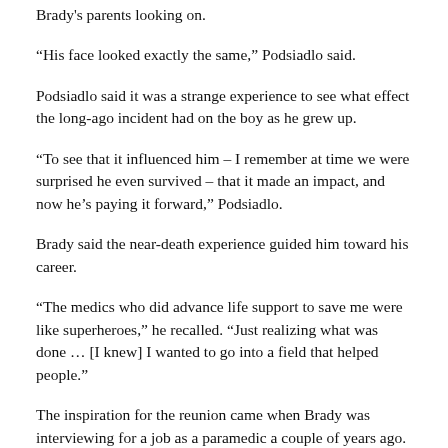Brady's parents looking on.
“His face looked exactly the same,” Podsiadlo said.
Podsiadlo said it was a strange experience to see what effect the long-ago incident had on the boy as he grew up.
“To see that it influenced him – I remember at time we were surprised he even survived – that it made an impact, and now he’s paying it forward,” Podsiadlo.
Brady said the near-death experience guided him toward his career.
“The medics who did advance life support to save me were like superheroes,” he recalled. “Just realizing what was done … [I knew] I wanted to go into a field that helped people.”
The inspiration for the reunion came when Brady was interviewing for a job as a paramedic a couple of years ago. Mike Valkamas, now the EMS manager at Norwood Hospital, asked what inspired him to be a paramedic, and Brady recounted the story.
Valkamas mentioned it to Podsiadlo over lunch.